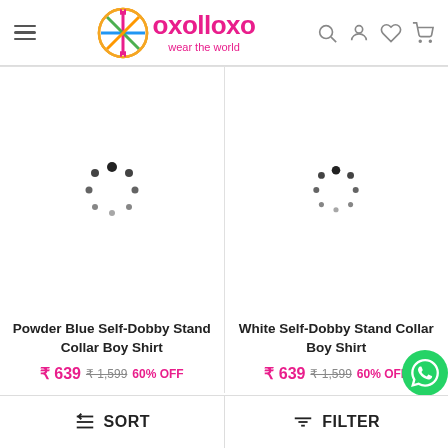[Figure (logo): Oxolloxo logo with circular colorful icon and text 'oxolloxo wear the world' in magenta]
[Figure (screenshot): Loading spinner (dots in circular pattern) for first product image]
Powder Blue Self-Dobby Stand Collar Boy Shirt
₹ 639 ₹ 1,599 60% OFF
[Figure (screenshot): Loading spinner (dots in circular pattern) for second product image]
White Self-Dobby Stand Collar Boy Shirt
₹ 639 ₹ 1,599 60% OFF
SORT
FILTER